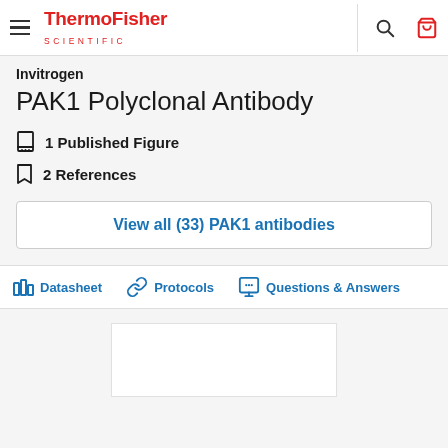ThermoFisher SCIENTIFIC
Invitrogen
PAK1 Polyclonal Antibody
1 Published Figure
2 References
View all (33) PAK1 antibodies
Datasheet  Protocols  Questions & Answers
[Figure (other): White image placeholder box at bottom of page]